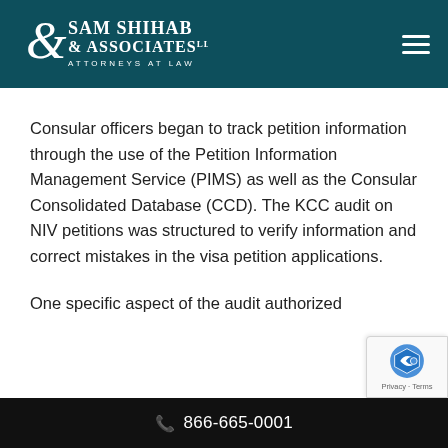Sam Shihab & Associates LLC – Attorneys at Law
Consular officers began to track petition information through the use of the Petition Information Management Service (PIMS) as well as the Consular Consolidated Database (CCD). The KCC audit on NIV petitions was structured to verify information and correct mistakes in the visa petition applications.
One specific aspect of the audit authorized
866-665-0001